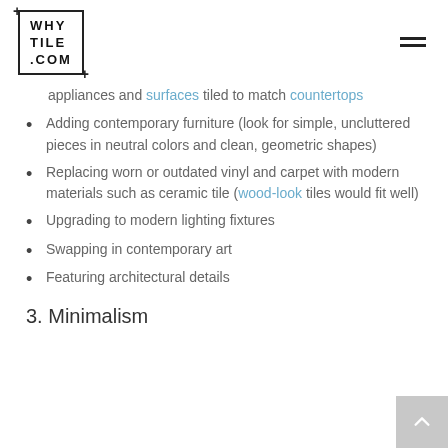WHY TILE .COM
appliances and surfaces tiled to match countertops
Adding contemporary furniture (look for simple, uncluttered pieces in neutral colors and clean, geometric shapes)
Replacing worn or outdated vinyl and carpet with modern materials such as ceramic tile (wood-look tiles would fit well)
Upgrading to modern lighting fixtures
Swapping in contemporary art
Featuring architectural details
3. Minimalism